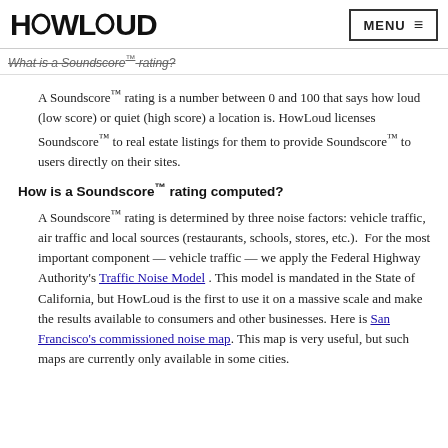HOWLOUD | MENU
What is a Soundscore™ rating?
A Soundscore™ rating is a number between 0 and 100 that says how loud (low score) or quiet (high score) a location is. HowLoud licenses Soundscore™ to real estate listings for them to provide Soundscore™ to users directly on their sites.
How is a Soundscore™ rating computed?
A Soundscore™ rating is determined by three noise factors: vehicle traffic, air traffic and local sources (restaurants, schools, stores, etc.).  For the most important component — vehicle traffic — we apply the Federal Highway Authority's Traffic Noise Model . This model is mandated in the State of California, but HowLoud is the first to use it on a massive scale and make the results available to consumers and other businesses. Here is San Francisco's commissioned noise map. This map is very useful, but such maps are currently only available in some cities.